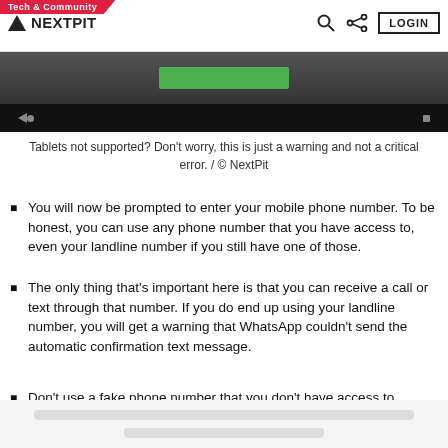Tech & Community | NEXTPIT | LOGIN
[Figure (screenshot): Screenshot of a mobile app interface showing a green button and playback controls on black background]
Tablets not supported? Don't worry, this is just a warning and not a critical error. / © NextPit
You will now be prompted to enter your mobile phone number. To be honest, you can use any phone number that you have access to, even your landline number if you still have one of those.
The only thing that's important here is that you can receive a call or text through that number. If you do end up using your landline number, you will get a warning that WhatsApp couldn't send the automatic confirmation text message.
Don't use a fake phone number that you don't have access to.
Tap on Call me to have WhatsApp dictate the activation code to you over the phone. You can also receive the code via SMS if you prefer.